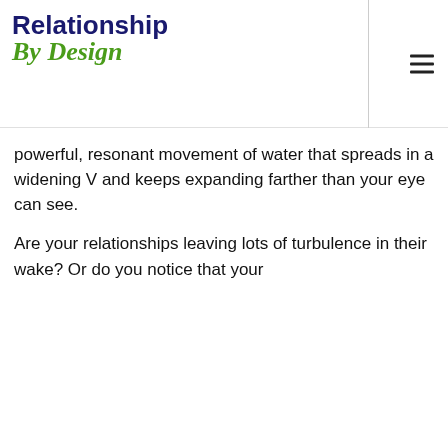Relationship By Design
powerful, resonant movement of water that spreads in a widening V and keeps expanding farther than your eye can see.
Are your relationships leaving lots of turbulence in their wake? Or do you notice that your
By Clicking on "Accept", you agree to the storing of cookies on your device to enhance site navigation, analyze site usage, and assist in our marketing efforts.
Accept All
Deny All
Cookie Settings
Made in Webflow